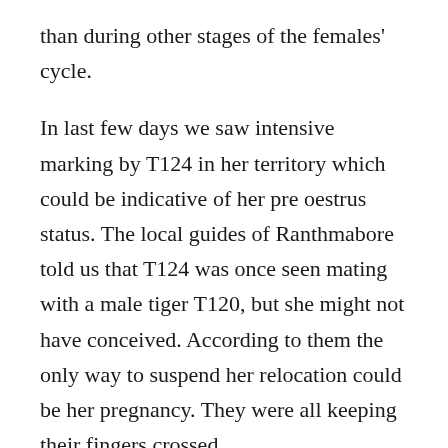than during other stages of the females' cycle.
In last few days we saw intensive marking by T124 in her territory which could be indicative of her pre oestrus status. The local guides of Ranthmabore told us that T124 was once seen mating with a male tiger T120, but she might not have conceived. According to them the only way to suspend her relocation could be her pregnancy. They were all keeping their fingers crossed.
Later in the morning we went to tourism zone 6 to search for another female tiger who was apparently nursing her cubs there. But, besides lot of chinkaras and sambar there were not much to talk about. That was our first chinkara sighting in Ranthmabore.